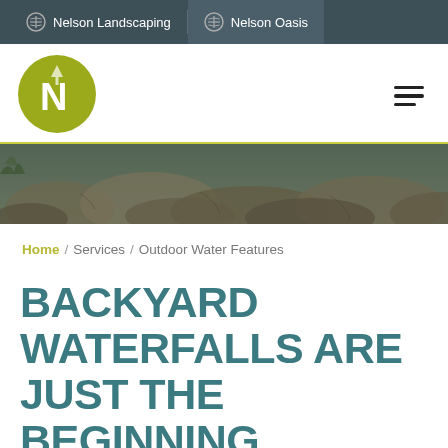Nelson Landscaping | Nelson Oasis
[Figure (logo): Nelson Landscaping circular green logo with stylized N and tree icon]
[Figure (photo): Banner photo of decorative rocks/stones landscaping feature]
Home / Services / Outdoor Water Features
BACKYARD WATERFALLS ARE JUST THE BEGINNING.